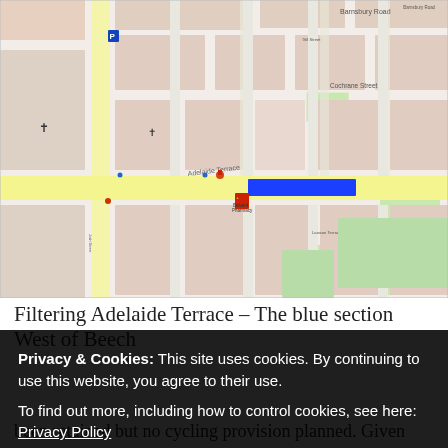[Figure (map): Street map showing Adelaide Terrace area with a blue highlighted section west of Beech Street. The map shows surrounding streets including Barnsbury Road, Cochrane Street, Atherton Drive, Armstrong Road, and others. A blue rectangle highlights a section of Adelaide Terrace.]
Filtering Adelaide Terrace – The blue section West of Beech
Privacy & Cookies: This site uses cookies. By continuing to use this website, you agree to their use.
To find out more, including how to control cookies, see here: Privacy Policy
been retained but no cycling provision planned. Given